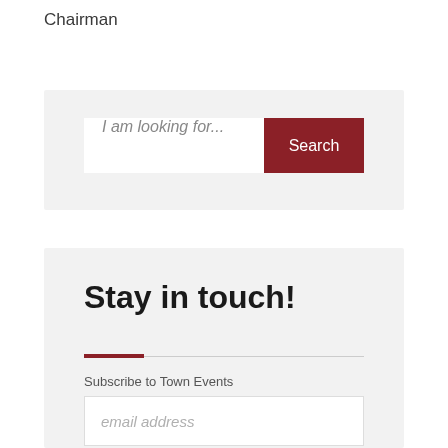Chairman
[Figure (screenshot): Search bar with placeholder text 'I am looking for...' and a dark red Search button on a light gray background]
Stay in touch!
Subscribe to Town Events
[Figure (screenshot): Email address input field with placeholder text 'email address']